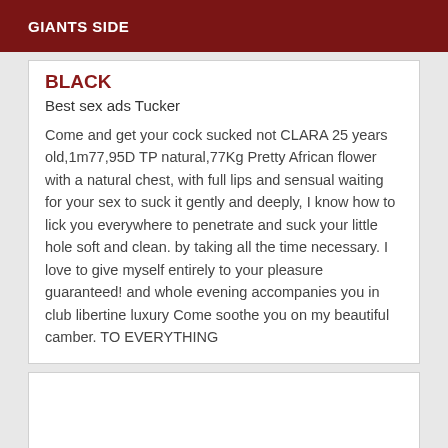GIANTS SIDE
BLACK
Best sex ads Tucker
Come and get your cock sucked not CLARA 25 years old,1m77,95D TP natural,77Kg Pretty African flower with a natural chest, with full lips and sensual waiting for your sex to suck it gently and deeply, I know how to lick you everywhere to penetrate and suck your little hole soft and clean. by taking all the time necessary. I love to give myself entirely to your pleasure guaranteed! and whole evening accompanies you in club libertine luxury Come soothe you on my beautiful camber. TO EVERYTHING